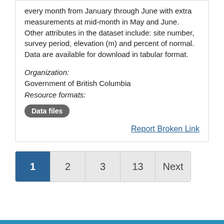every month from January through June with extra measurements at mid-month in May and June. Other attributes in the dataset include: site number, survey period, elevation (m) and percent of normal. Data are available for download in tabular format.
Organization: Government of British Columbia Resource formats: Data files
Report Broken Link
1 2 3 13 Next